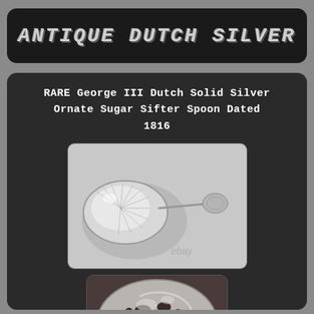Antique Dutch Silver
RARE George III Dutch Solid Silver Ornate Sugar Sifter Spoon Dated 1816
[Figure (photo): Photo of an antique silver sugar sifter spoon with ornate handle and pierced bowl, shown from above on light background, with eBay watermark]
[Figure (photo): Close-up photo of the ornate pierced bowl of the antique silver sugar sifter spoon]